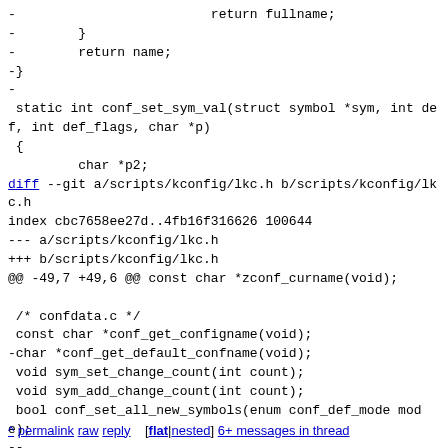- return fullname;
-        }
-        return name;
-}
-
 static int conf_set_sym_val(struct symbol *sym, int def, int def_flags, char *p)
 {
         char *p2;
diff --git a/scripts/kconfig/lkc.h b/scripts/kconfig/lkc.h
index cbc7658ee27d..4fb16f316626 100644
--- a/scripts/kconfig/lkc.h
+++ b/scripts/kconfig/lkc.h
@@ -49,7 +49,6 @@ const char *zconf_curname(void);

 /* confdata.c */
 const char *conf_get_configname(void);
-char *conf_get_default_confname(void);
 void sym_set_change_count(int count);
 void sym_add_change_count(int count);
 bool conf_set_all_new_symbols(enum conf_def_mode mode);
--
2.17.1
^ permalink raw reply [flat|nested] 6+ messages in thread